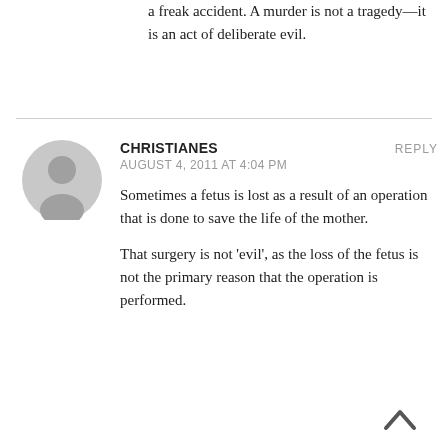a freak accident. A murder is not a tragedy—it is an act of deliberate evil.
CHRISTIANES
AUGUST 4, 2011 AT 4:04 PM
Sometimes a fetus is lost as a result of an operation that is done to save the life of the mother.
That surgery is not 'evil', as the loss of the fetus is not the primary reason that the operation is performed.